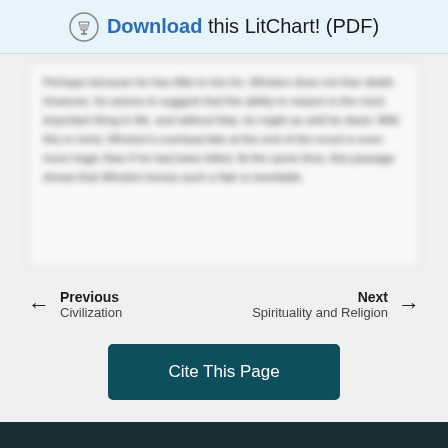Download this LitChart! (PDF)
Perhaps because he has little to live for, Winston does not fear death. However, he seems to suggest that the ability to reason is the most important thing in life, and without that, he might as well be dead. With this in mind, Winston's eventual fate at the end of the novel is even more tragic than if he had been killed. At the same time, this passage shows that Winston knows such a fate is inevitable.
Previous
Civilization
Next
Spirituality and Religion
Cite This Page